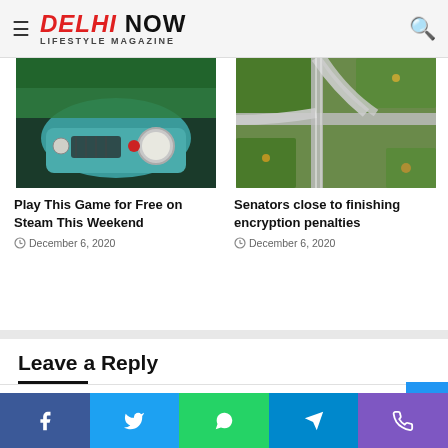DELHI NOW LIFESTYLE MAGAZINE
[Figure (photo): Front view of a vintage teal/blue car with round headlights and chrome grille]
Play This Game for Free on Steam This Weekend
December 6, 2020
[Figure (photo): Aerial view of highway interchanges and roads with greenery]
Senators close to finishing encryption penalties
December 6, 2020
Leave a Reply
Your email address will not be published. Required fields are marked *